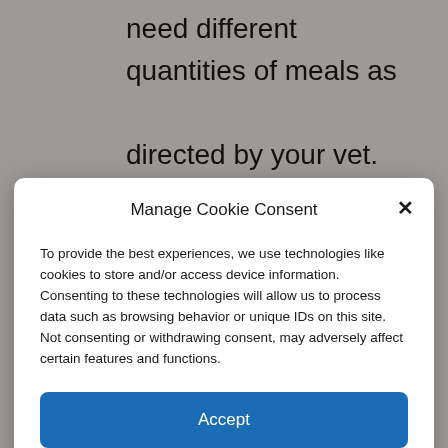need different quantities of meals as directed by your vet.
The following table shows the monthly quantity
Manage Cookie Consent
To provide the best experiences, we use technologies like cookies to store and/or access device information. Consenting to these technologies will allow us to process data such as browsing behavior or unique IDs on this site. Not consenting or withdrawing consent, may adversely affect certain features and functions.
Accept